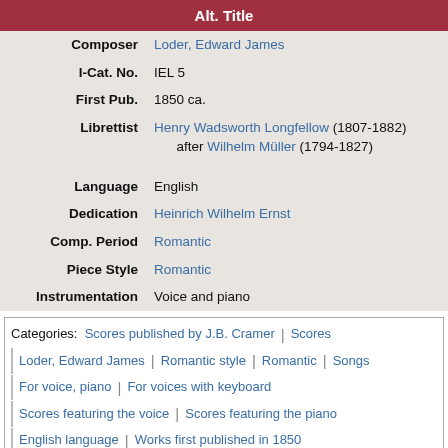| Alt. Title |
| --- |
| Composer | Loder, Edward James |
| I-Cat. No. | IEL 5 |
| First Pub. | 1850 ca. |
| Librettist | Henry Wadsworth Longfellow (1807-1882) after Wilhelm Müller (1794-1827) |
| Language | English |
| Dedication | Heinrich Wilhelm Ernst |
| Comp. Period | Romantic |
| Piece Style | Romantic |
| Instrumentation | Voice and piano |
Categories: Scores published by J.B. Cramer | Scores | Loder, Edward James | Romantic style | Romantic | Songs | For voice, piano | For voices with keyboard | Scores featuring the voice | Scores featuring the piano | English language | Works first published in 1850 | Works first published in the 19th century